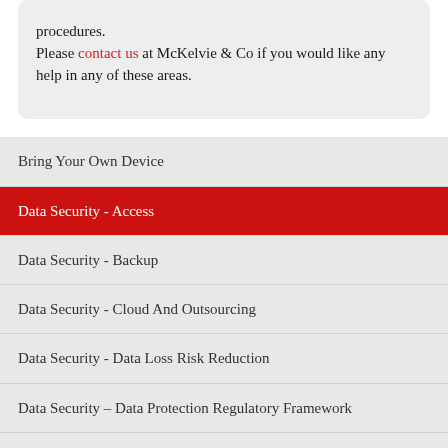procedures. Please contact us at McKelvie & Co if you would like any help in any of these areas.
Bring Your Own Device
Data Security - Access
Data Security - Backup
Data Security - Cloud And Outsourcing
Data Security - Data Loss Risk Reduction
Data Security – Data Protection Regulatory Framework
Data Security – Data Protection Regulation - Ensuring Compliance